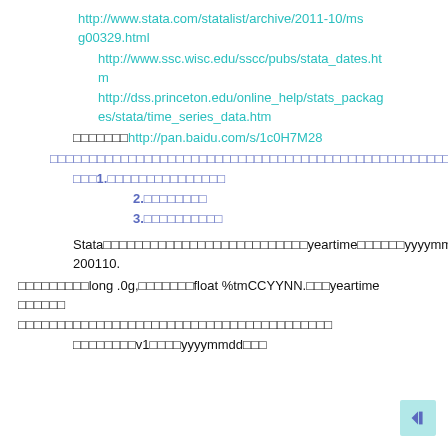http://www.stata.com/statalist/archive/2011-10/msg00329.html
http://www.ssc.wisc.edu/sscc/pubs/stata_dates.htm
http://dss.princeton.edu/online_help/stats_packages/stata/time_series_data.htm
□□□□□□□http://pan.baidu.com/s/1c0H7M28
□□□□□□□□□□□□□□□□□□□□□□□□□□□□□□□□□□□□□□□□□□□□□□□□□□□□□□□□□□□□□□□□□□□□□□□□□□□□□□□□□□□□□□□□□□□□□□□□□□□□□□□□□□□□□□□□□□□□□□□□□
□□□1.□□□□□□□□□□□□□□□□
2.□□□□□□□□
3.□□□□□□□□□□
Stata□□□□□□□□□□□□□□□□□□□□□□□□□□yeartime□□□□□□yyyymm□□□□□200110.
□□□□□□□□□long .0g,□□□□□□□float %tmCCYYNN.□□□yeartime □□□□□□□□□□□□□□□□□□□□□□□□□□□□□□□□□□□□□□□□□
□□□□□□□□v1□□□□yyyymmdd□□□